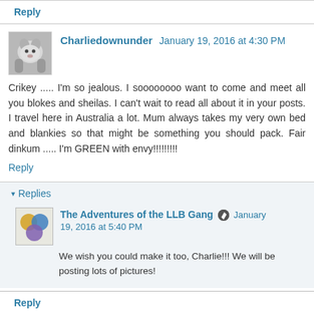Reply
Charliedownunder  January 19, 2016 at 4:30 PM
Crikey ..... I'm so jealous. I soooooooo want to come and meet all you blokes and sheilas. I can't wait to read all about it in your posts. I travel here in Australia a lot. Mum always takes my very own bed and blankies so that might be something you should pack. Fair dinkum ..... I'm GREEN with envy!!!!!!!!!
Reply
Replies
The Adventures of the LLB Gang  January 19, 2016 at 5:40 PM
We wish you could make it too, Charlie!!! We will be posting lots of pictures!
Reply